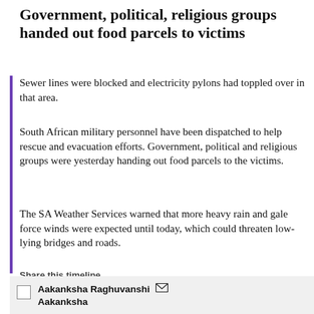Government, political, religious groups handed out food parcels to victims
Sewer lines were blocked and electricity pylons had toppled over in that area.
South African military personnel have been dispatched to help rescue and evacuation efforts. Government, political and religious groups were yesterday handing out food parcels to the victims.
The SA Weather Services warned that more heavy rain and gale force winds were expected until today, which could threaten low-lying bridges and roads.
Share this timeline
[Figure (infographic): Social share icons: Facebook (f), WhatsApp (chat bubble), Twitter (bird), LinkedIn (in) — each inside a light grey circle]
Aakanksha Raghuvanshi
Aakanksha